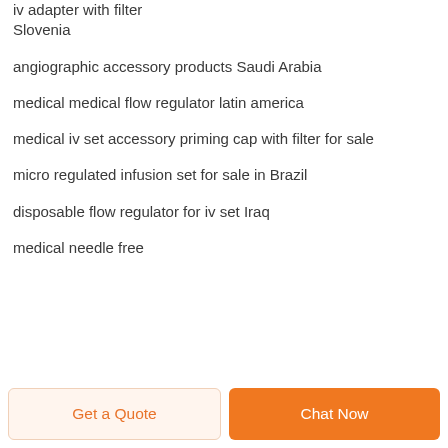iv adapter with filter Slovenia
angiographic accessory products Saudi Arabia
medical medical flow regulator latin america
medical iv set accessory priming cap with filter for sale
micro regulated infusion set for sale in Brazil
disposable flow regulator for iv set Iraq
medical needle free
Get a Quote
Chat Now